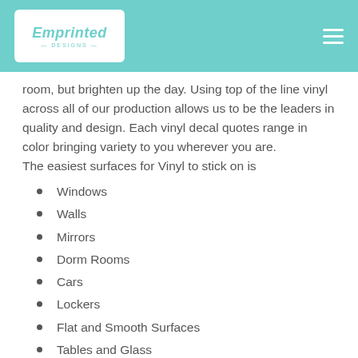Emprinted Designs
room, but brighten up the day. Using top of the line vinyl across all of our production allows us to be the leaders in quality and design. Each vinyl decal quotes range in color bringing variety to you wherever you are.
The easiest surfaces for Vinyl to stick on is
Windows
Walls
Mirrors
Dorm Rooms
Cars
Lockers
Flat and Smooth Surfaces
Tables and Glass
Cabinets
All vinyl packages come with easy to follow instructions for the applying vinyl, because it is to make it as simple and